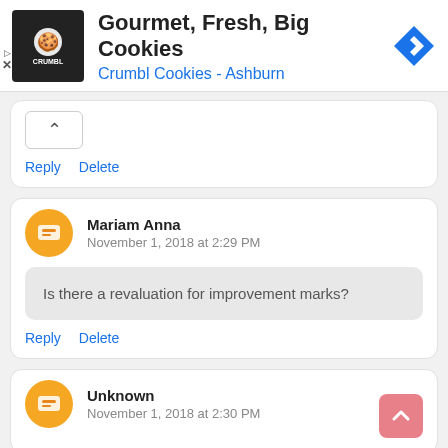[Figure (screenshot): Ad banner for Crumbl Cookies - Ashburn with logo, title 'Gourmet, Fresh, Big Cookies', subtitle 'Crumbl Cookies - Ashburn', and navigation arrow icon]
Reply   Delete
Mariam Anna
November 1, 2018 at 2:29 PM
Is there a revaluation for improvement marks?
Reply   Delete
Unknown
November 1, 2018 at 2:30 PM